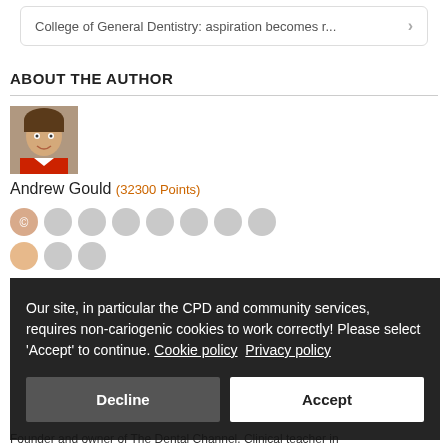College of General Dentistry: aspiration becomes r...
ABOUT THE AUTHOR
[Figure (photo): Author photo of Andrew Gould]
Andrew Gould (32300 Points)
Our site, in particular the CPD and community services, requires non-cariogenic cookies to work correctly! Please select 'Accept' to continue. Cookie policy  Privacy policy
Founder and owner of The Dental Channel. Clinical teacher in